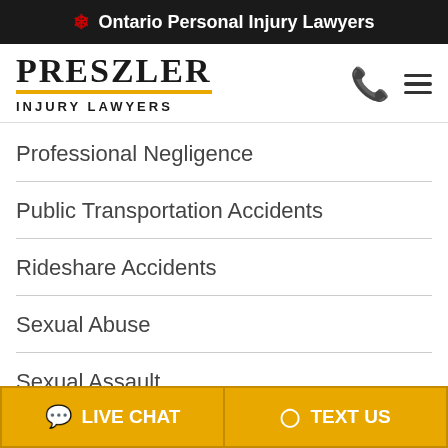🍁 Ontario Personal Injury Lawyers
[Figure (logo): Preszler Injury Lawyers logo with phone and menu icons]
Professional Negligence
Public Transportation Accidents
Rideshare Accidents
Sexual Abuse
Sexual Assault
LIVE CHAT | TEXT US